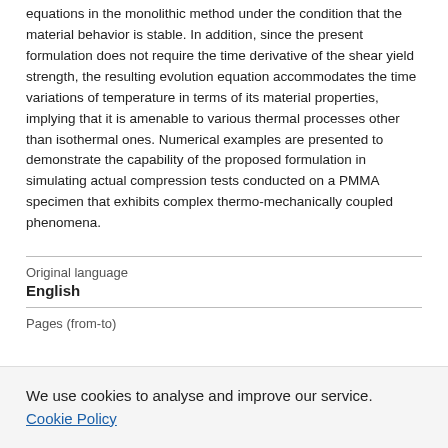ensuring the stability of the strongly coupled distributed equations in the monolithic method under the condition that the material behavior is stable. In addition, since the present formulation does not require the time derivative of the shear yield strength, the resulting evolution equation accommodates the time variations of temperature in terms of its material properties, implying that it is amenable to various thermal processes other than isothermal ones. Numerical examples are presented to demonstrate the capability of the proposed formulation in simulating actual compression tests conducted on a PMMA specimen that exhibits complex thermo-mechanically coupled phenomena.
Original language
English
Pages (from-to)
We use cookies to analyse and improve our service. Cookie Policy